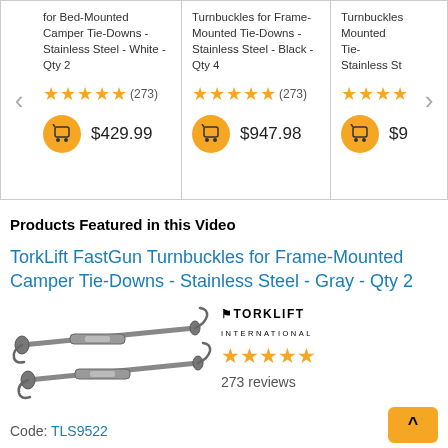[Figure (screenshot): Product carousel showing three product cards with star ratings and prices. Left card: Turnbuckles for Bed-Mounted Camper Tie-Downs - Stainless Steel - White - Qty 2, 4.5 stars (273 reviews), $429.99. Middle card: Turnbuckles for Frame-Mounted Tie-Downs - Stainless Steel - Black - Qty 4, 4.5 stars (273 reviews), $947.98. Partial right card: Turnbuckles ... Stainless St..., partial price $9...]
Products Featured in this Video
TorkLift FastGun Turnbuckles for Frame-Mounted Camper Tie-Downs - Stainless Steel - Gray - Qty 2
[Figure (photo): Photo of two gray TorkLift FastGun turnbuckle tie-down rods on white background]
[Figure (logo): TORKLIFT INTERNATIONAL logo in bold black text with star rating below]
273 reviews
Code: TLS9522